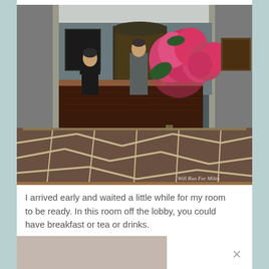[Figure (photo): Hotel lobby interior showing a reception desk with two staff members, a large decorative table with floral arrangements in the center, and a patterned carpet. Watermark reads 'Will Run For Miles'.]
I arrived early and waited a little while for my room to be ready. In this room off the lobby, you could have breakfast or tea or drinks.